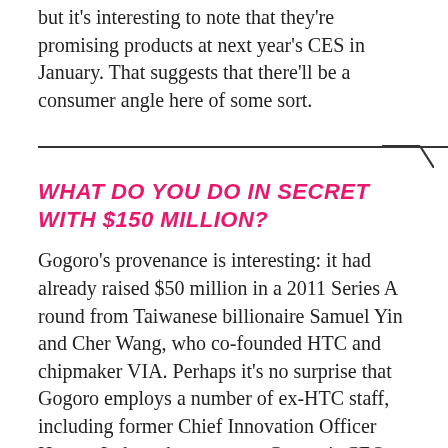but it's interesting to note that they're promising products at next year's CES in January. That suggests that there'll be a consumer angle here of some sort.
WHAT DO YOU DO IN SECRET WITH $150 MILLION?
Gogoro's provenance is interesting: it had already raised $50 million in a 2011 Series A round from Taiwanese billionaire Samuel Yin and Cher Wang, who co-founded HTC and chipmaker VIA. Perhaps it's no surprise that Gogoro employs a number of ex-HTC staff, including former Chief Innovation Officer Horace Luke, who serves as Gogoro's CEO.
Now, the company is securing another $100 million (though it's not saying where the money is coming